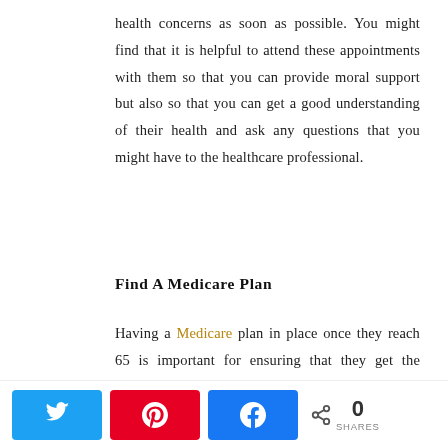health concerns as soon as possible. You might find that it is helpful to attend these appointments with them so that you can provide moral support but also so that you can get a good understanding of their health and ask any questions that you might have to the healthcare professional.
Find A Medicare Plan
Having a Medicare plan in place once they reach 65 is important for ensuring that they get the healthcare that they need if they encounter any health issues. You can find what Medicare
[Figure (infographic): Social share bar with Twitter, Pinterest, and Facebook buttons, and a share count showing 0 SHARES]